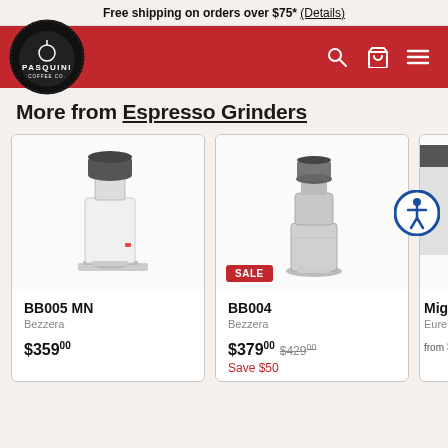Free shipping on orders over $75* (Details)
[Figure (logo): Pasquini Coffee Co. circular logo with navigation bar, search, cart, and menu icons on red background]
More from Espresso Grinders
[Figure (photo): Bezzera BB005 MN espresso grinder, white, product photo]
BB005 MN
Bezzera
$359.00
[Figure (photo): Bezzera BB004 espresso grinder, chrome/silver, product photo with SALE badge]
BB004
Bezzera
$379.00 $429.00 Save $50
[Figure (photo): Partial view of a third product card (Eureka Mignon)]
Migno...
Eureka
from $...